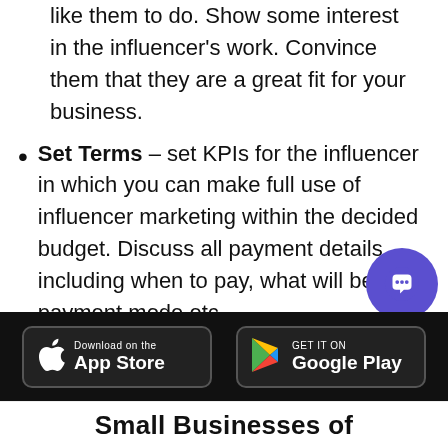like them to do. Show some interest in the influencer's work. Convince them that they are a great fit for your business.
Set Terms – set KPIs for the influencer in which you can make full use of influencer marketing within the decided budget. Discuss all payment details including when to pay, what will be the payment mode etc.
Track Results – Multiple tools can be used to track results automatically, you can also track manually by asking insights from the
[Figure (screenshot): App Store download button (black)]
[Figure (screenshot): Google Play download button (black)]
Small Businesses of